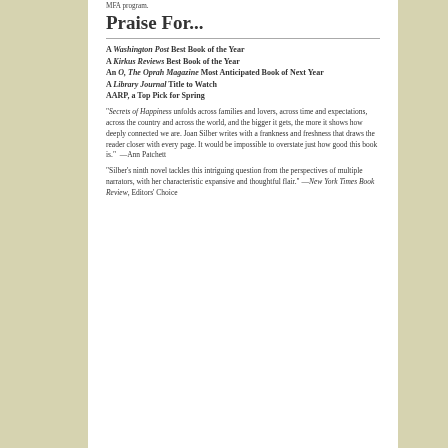MFA program.
Praise For...
A Washington Post Best Book of the Year
A Kirkus Reviews Best Book of the Year
An O, The Oprah Magazine Most Anticipated Book of Next Year
A Library Journal Title to Watch
AARP, a Top Pick for Spring
"Secrets of Happiness unfolds across families and lovers, across time and expectations, across the country and across the world, and the bigger it gets, the more it shows how deeply connected we are. Joan Silber writes with a frankness and freshness that draws the reader closer with every page. It would be impossible to overstate just how good this book is."  —Ann Patchett
"Silber's ninth novel tackles this intriguing question from the perspectives of multiple narrators, with her characteristic expansive and thoughtful flair." —New York Times Book Review, Editors' Choice